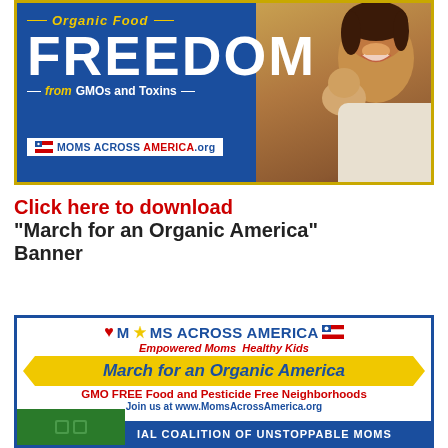[Figure (illustration): Blue banner with text 'Organic Food FREEDOM from GMOs and Toxins' and MOMS ACROSS AMERICA.org logo, with photo of smiling woman holding baby]
Click here to download "March for an Organic America" Banner
[Figure (illustration): Moms Across America banner: logo with heart and stars, tagline Empowered Moms Healthy Kids, March for an Organic America ribbon, GMO FREE Food and Pesticide Free Neighborhoods, Join us at www.MomsAcrossAmerica.org, NAL COALITION OF UNSTOPPABLE MOMS bar]